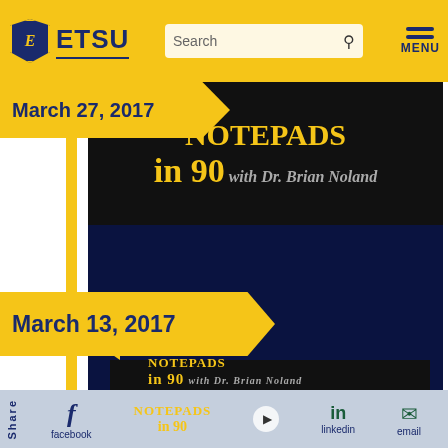ETSU
March 27, 2017
[Figure (screenshot): ETSU Notepads in 90 with Dr. Brian Noland video thumbnail, dark background]
March 13, 2017
[Figure (screenshot): ETSU New Budget Model video thumbnail, dark navy background with arrow and text]
Share | facebook | twitter | linkedin | email